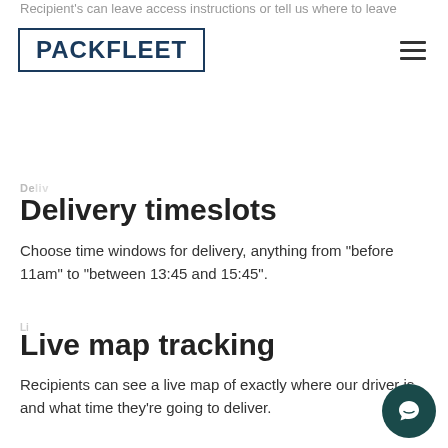Recipient's can leave access instructions or tell us where to leave
[Figure (logo): PACKFLEET logo in dark blue text with a rectangular border]
Delivery timeslots
Choose time windows for delivery, anything from "before 11am" to "between 13:45 and 15:45".
Live map tracking
Recipients can see a live map of exactly where our driver is and what time they're going to deliver.
Friendly drivers
Our drivers won't chuck parcels over the fence. They'll knock and wait patiently (with a smile!).
Gentle handling